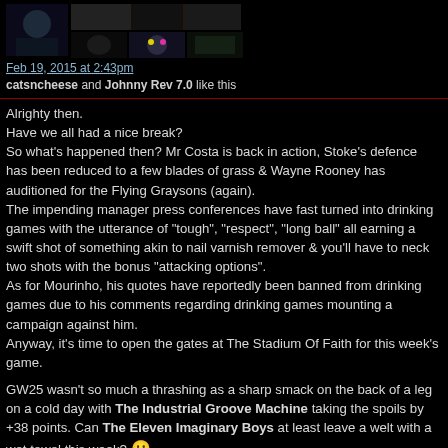[Figure (photo): Forum post header area showing user avatars/thumbnails arranged in a grid on a dark background]
Feb 19, 2015 at 2:43pm
catsncheese and Johnny Rev 7.0 like this
Alrighty then.
Have we all had a nice break?
So what's happened then? Mr Costa is back in action, Stoke's defence has been reduced to a few blades of grass & Wayne Rooney has auditioned for the Flying Graysons (again).
The impending manager press conferences have fast turned into drinking games with the utterance of "tough", "respect", "long ball" all earning a swift shot of something akin to nail varnish remover & you'll have to neck two shots with the bonus "attacking options".
As for Mourinho, his quotes have reportedly been banned from drinking games due to his comments regarding drinking games mounting a campaign against him.
Anyway, it's time to open the gates at The Stadium Of Faith for this week's game.

GW25 wasn't so much a thrashing as a sharp smack on the back of a leg on a cold day with The Industrial Groove Machine taking the spoils by +38 points. Can The Eleven Imaginary Boys at least leave a welt with a wet towel this week? 🙂